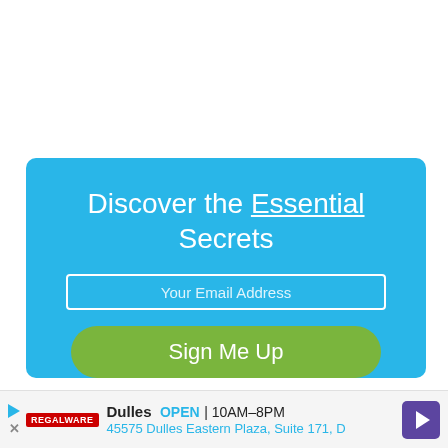[Figure (infographic): Blue signup box with headline 'Discover the Essential Secrets', email input field, and green 'Sign Me Up' button]
[Figure (infographic): Advertisement banner for a Dulles store: OPEN 10AM-8PM, 45575 Dulles Eastern Plaza, Suite 171, D, with navigation arrow button]